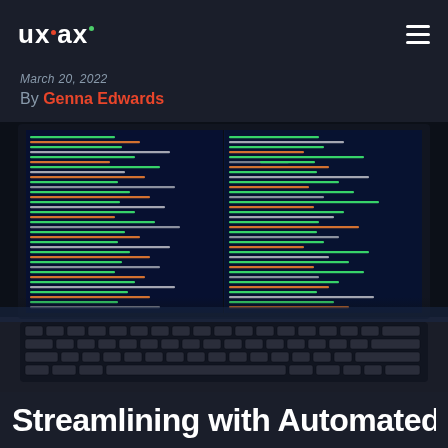UXAX
March 20, 2022
By Genna Edwards
[Figure (photo): A laptop computer photographed from slightly above and in front, showing a split screen with colorful code (green, orange, white text) on a dark blue background. The keyboard is visible in the lower portion. Dark ambient lighting.]
Streamlining with Automated...